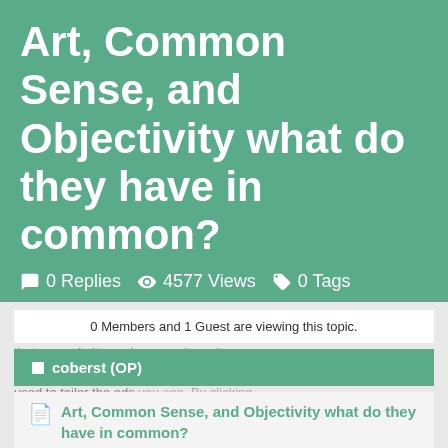Art, Common Sense, and Objectivity what do they have in common?
0 Replies  4577 Views  0 Tags
0 Members and 1 Guest are viewing this topic.
coberst (OP)
Art, Common Sense, and Objectivity what do they have in common?
« on: 26/01/2009 11:51:41 »
Art, Common Sense, and Objectivity
To study art is to study human nature.